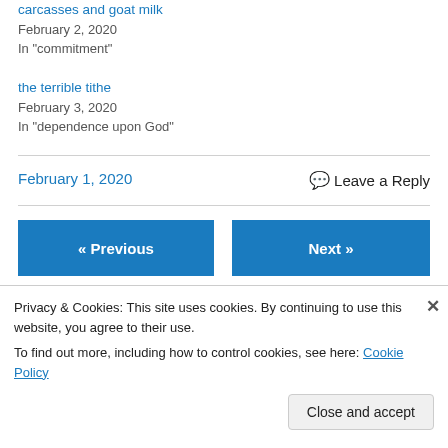carcasses and goat milk
February 2, 2020
In "commitment"
the terrible tithe
February 3, 2020
In "dependence upon God"
February 1, 2020
💬 Leave a Reply
« Previous
Next »
Privacy & Cookies: This site uses cookies. By continuing to use this website, you agree to their use.
To find out more, including how to control cookies, see here: Cookie Policy
Close and accept